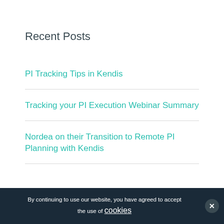Recent Posts
PI Tracking Tips in Kendis
Tracking your PI Execution Webinar Summary
Nordea on their Transition to Remote PI Planning with Kendis
By continuing to use our website, you have agreed to accept the use of cookies ×